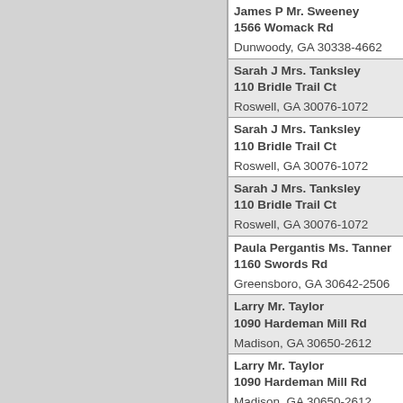James P Mr. Sweeney
1566 Womack Rd

Dunwoody, GA 30338-4662
Sarah J Mrs. Tanksley
110 Bridle Trail Ct

Roswell, GA 30076-1072
Sarah J Mrs. Tanksley
110 Bridle Trail Ct

Roswell, GA 30076-1072
Sarah J Mrs. Tanksley
110 Bridle Trail Ct

Roswell, GA 30076-1072
Paula Pergantis Ms. Tanner
1160 Swords Rd

Greensboro, GA 30642-2506
Larry Mr. Taylor
1090 Hardeman Mill Rd

Madison, GA 30650-2612
Larry Mr. Taylor
1090 Hardeman Mill Rd

Madison, GA 30650-2612